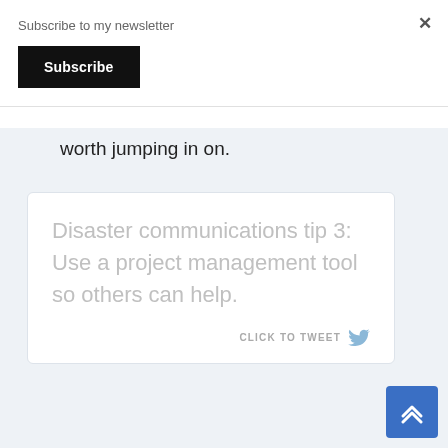Subscribe to my newsletter
Subscribe
worth jumping in on.
Disaster communications tip 3: Use a project management tool so others can help.
CLICK TO TWEET